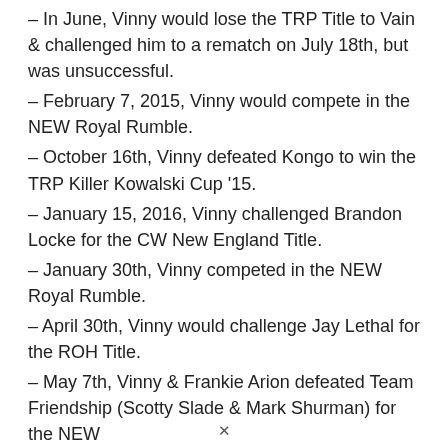– In June, Vinny would lose the TRP Title to Vain & challenged him to a rematch on July 18th, but was unsuccessful.
– February 7, 2015, Vinny would compete in the NEW Royal Rumble.
– October 16th, Vinny defeated Kongo to win the TRP Killer Kowalski Cup '15.
– January 15, 2016, Vinny challenged Brandon Locke for the CW New England Title.
– January 30th, Vinny competed in the NEW Royal Rumble.
– April 30th, Vinny would challenge Jay Lethal for the ROH Title.
– May 7th, Vinny & Frankie Arion defeated Team Friendship (Scotty Slade & Mark Shurman) for the NEW